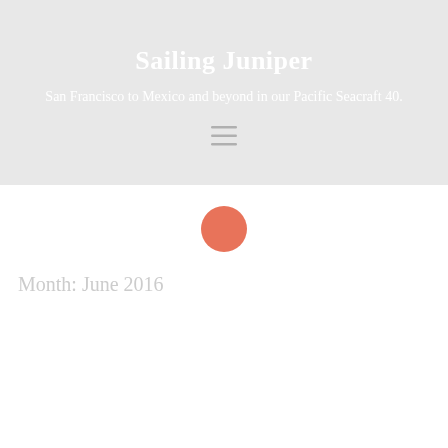Sailing Juniper
San Francisco to Mexico and beyond in our Pacific Seacraft 40.
[Figure (other): Hamburger menu icon with three horizontal lines]
[Figure (other): Round coral/salmon colored avatar circle]
Month: June 2016